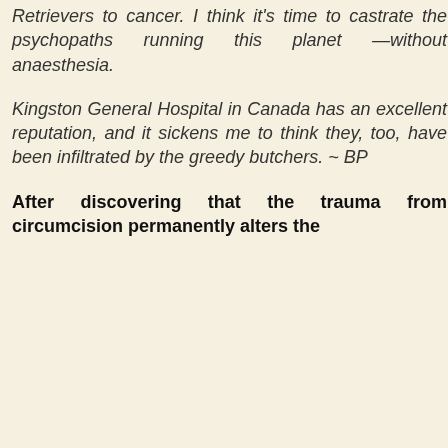Retrievers to cancer. I think it's time to castrate the psychopaths running this planet —without anaesthesia.
Kingston General Hospital in Canada has an excellent reputation, and it sickens me to think they, too, have been infiltrated by the greedy butchers. ~ BP
After discovering that the trauma from circumcision permanently alters the...